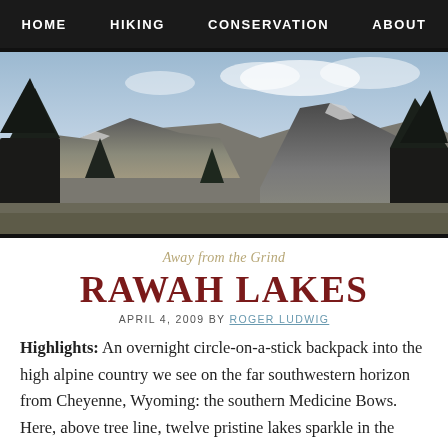HOME   HIKING   CONSERVATION   ABOUT
[Figure (photo): Mountain landscape photo showing rocky alpine peaks with evergreen trees in foreground and partially cloudy sky]
Away from the Grind
RAWAH LAKES
APRIL 4, 2009 BY ROGER LUDWIG
Highlights: An overnight circle-on-a-stick backpack into the high alpine country we see on the far southwestern horizon from Cheyenne, Wyoming: the southern Medicine Bows. Here, above tree line, twelve pristine lakes sparkle in the shadow of North and South Rawah Peaks. Rawah is pronounced Ray'-wah and is a native